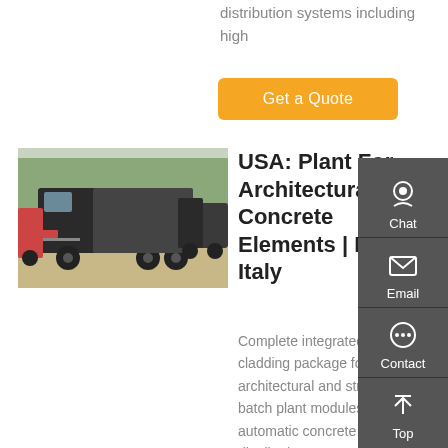distribution systems including high
[Figure (other): Orange 'Get a Quote' button]
[Figure (photo): Dump trucks parked in a row outdoors]
USA: Plant For Architectural Concrete Elements | MCT Italy
Complete integrated cladding package for architectural and structural batch plant modules. Fully automatic concrete distribution system onto the production halls by 2 rails line with 2 flying buckets type AV 5
[Figure (infographic): Sidebar with Chat, Email, Contact, and Top navigation icons on dark grey background]